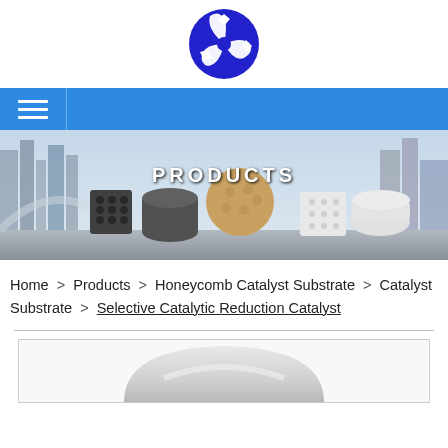[Figure (logo): Company logo — blue circular icon with stylized arrows/swirls]
[Figure (photo): Navigation bar with hamburger menu icon on blue background, labeled PRODUCTS. Banner shows ceramic honeycomb catalyst substrate products arranged on a surface with city skyline backdrop.]
Home > Products > Honeycomb Catalyst Substrate > Catalyst Substrate > Selective Catalytic Reduction Catalyst
[Figure (photo): Bottom portion of a white/grey ceramic catalyst substrate piece shown from below in a white-bordered box]